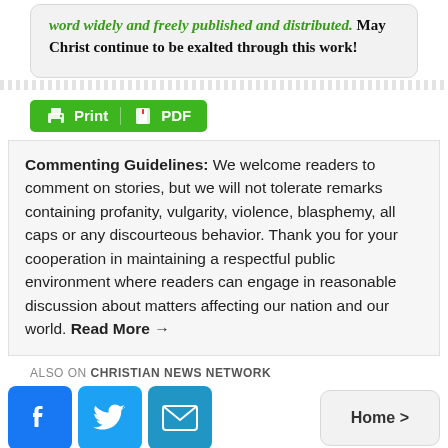word widely and freely published and distributed. May Christ continue to be exalted through this work!
[Figure (other): Green Print/PDF button with printer and document icons]
Commenting Guidelines: We welcome readers to comment on stories, but we will not tolerate remarks containing profanity, vulgarity, violence, blasphemy, all caps or any discourteous behavior. Thank you for your cooperation in maintaining a respectful public environment where readers can engage in reasonable discussion about matters affecting our nation and our world. Read More →
ALSO ON CHRISTIAN NEWS NETWORK
[Figure (other): Facebook, Twitter, and Email social sharing buttons, and a Home navigation button]